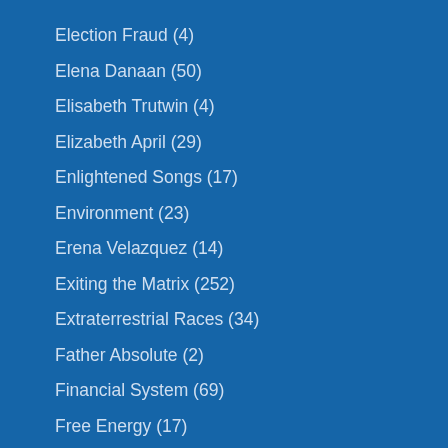Election Fraud (4)
Elena Danaan (50)
Elisabeth Trutwin (4)
Elizabeth April (29)
Enlightened Songs (17)
Environment (23)
Erena Velazquez (14)
Exiting the Matrix (252)
Extraterrestrial Races (34)
Father Absolute (2)
Financial System (69)
Free Energy (17)
Free Will (1)
Galactic Federation (167)
Galactic History (125)
Galactic Human (10)
Galaxygirl (100)